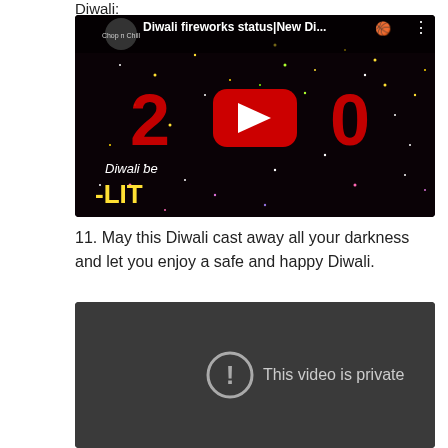Diwali:
[Figure (screenshot): YouTube video thumbnail showing '2020' in red with fireworks on black background, text 'Diwali be LIT', channel 'Chop n Chill', title 'Diwali fireworks status|New Di...']
11. May this Diwali cast away all your darkness and let you enjoy a safe and happy Diwali.
[Figure (screenshot): Dark gray YouTube video player showing error message 'This video is private' with an exclamation mark icon]